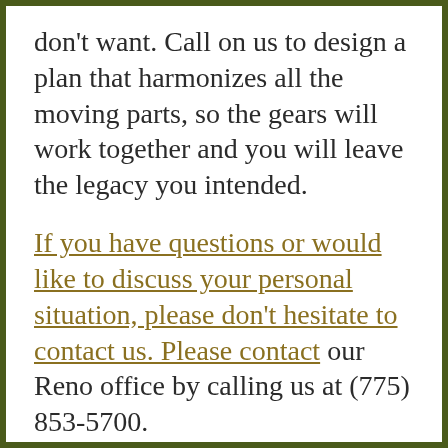don't want. Call on us to design a plan that harmonizes all the moving parts, so the gears will work together and you will leave the legacy you intended.
If you have questions or would like to discuss your personal situation, please don't hesitate to contact us. Please contact our Reno office by calling us at (775) 853-5700.